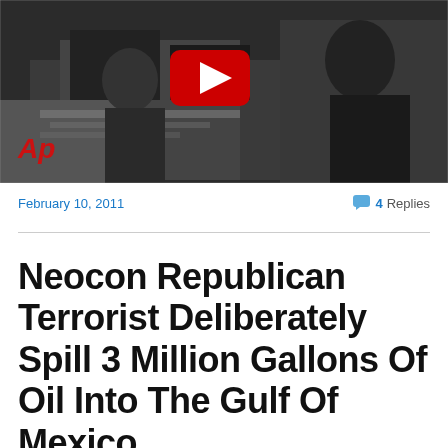[Figure (screenshot): YouTube video thumbnail showing a black and white office/desk scene with the YouTube play button overlay centered. AP logo in red italic text at bottom left.]
February 10, 2011                               4 Replies
Neocon Republican Terrorist Deliberately Spill 3 Million Gallons Of Oil Into The Gulf Of Mexico....